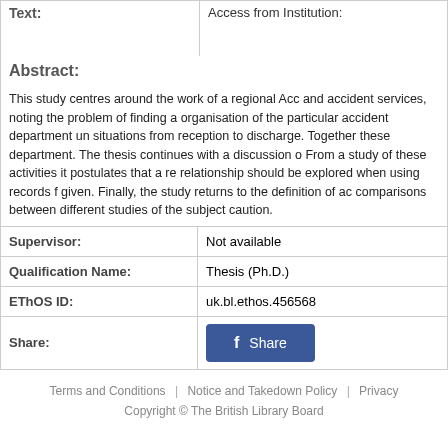| Text: | Access from Institution: |
| --- | --- |
|  |
Abstract:
This study centres around the work of a regional Acc and accident services, noting the problem of finding a organisation of the particular accident department un situations from reception to discharge. Together these department. The thesis continues with a discussion o From a study of these activities it postulates that a re relationship should be explored when using records f given. Finally, the study returns to the definition of ac comparisons between different studies of the subject caution.
| Supervisor: |  |
| --- | --- |
| Supervisor: | Not available |
| Qualification Name: | Thesis (Ph.D.) |
| EThOS ID: | uk.bl.ethos.456568 |
| Share: | Share |
Terms and Conditions | Notice and Takedown Policy | Privacy
Copyright © The British Library Board